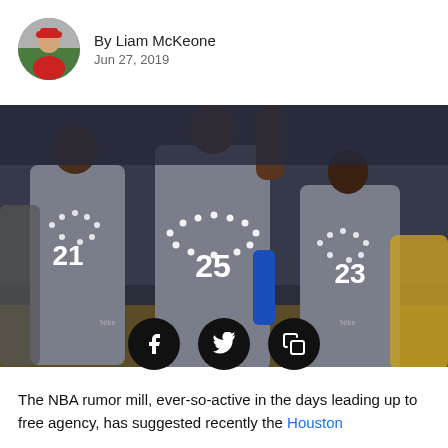By Liam McKeone
Jun 27, 2019
[Figure (photo): Three Philadelphia 76ers players in gray uniforms with numbers 21, 25, and 23, celebrating on court during a game]
[Figure (infographic): Three social media share buttons: Facebook (f), Twitter (bird), and copy/share icon, displayed as black circles]
The NBA rumor mill, ever-so-active in the days leading up to free agency, has suggested recently the Houston